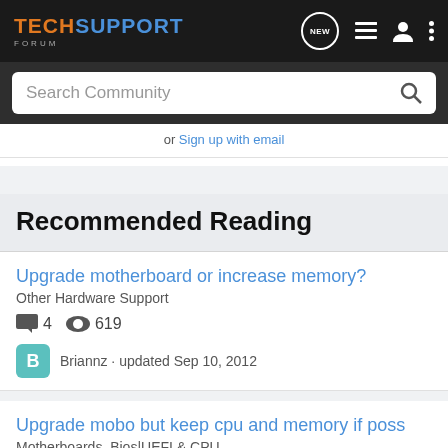TECHSUPPORT FORUM
Search Community
or Sign up with email
Recommended Reading
Upgrade motherboard or increase memory? | Other Hardware Support | 4 replies | 619 views | Briannz · updated Sep 10, 2012
Upgrade mobo but keep cpu and memory if poss | Motherboards, Bios|UEFI & CPU